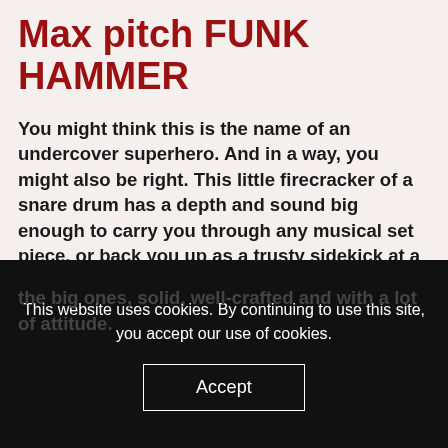Max pitch FUNK HAMMER
You might think this is the name of an undercover superhero. And in a way, you might also be right. This little firecracker of a snare drum has a depth and sound big enough to carry you through any musical set piece, or back you up as a trusty sidekick at a dodgy venue in a dark alley… The dimensions are 10”x5,5”, making it a bite-size helping, or side dish, at any gig. The shell is 2,5 millimetres thick, with 5 millimetres at the reinforcement rings. And the bearing edges are the same as
This website uses cookies. By continuing to use this site, you accept our use of cookies.
Accept